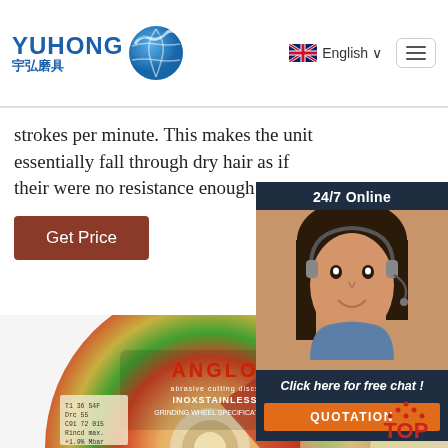[Figure (logo): YUHONG 宇弘磨具 logo with blue wave/globe icon]
strokes per minute. This makes the unit essentially fall through dry hair as if their were no resistance enough to …
Get Price
[Figure (photo): 24/7 Online chat widget with photo of customer service representative and QUOTATION button]
[Figure (photo): ANGLO branded abrasive cutting/grinding disc product image]